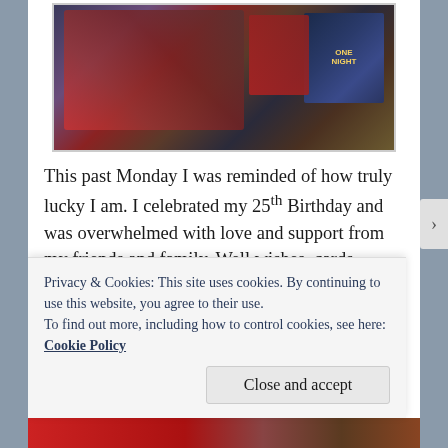[Figure (photo): Photo of several board game boxes on a dark table surface, including what appears to be Zombicide and One Night board games]
This past Monday I was reminded of how truly lucky I am. I celebrated my 25th Birthday and was overwhelmed with love and support from my friends and family. Well wishes, cards, phone calls, everyone who reached out in some way made me feel thankful. One of the ways people made me feel particularly appreciated was by giving me board games. I received 6 board games this year, all valuable additions to my collection that I look
Privacy & Cookies: This site uses cookies. By continuing to use this website, you agree to their use.
To find out more, including how to control cookies, see here:
Cookie Policy